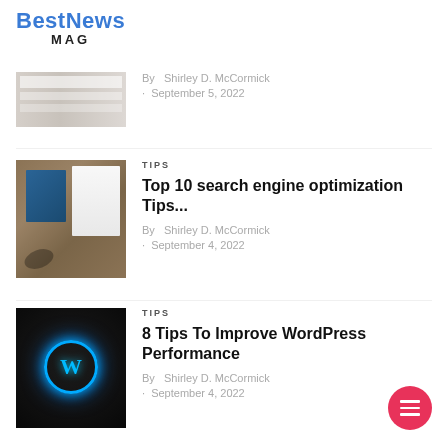[Figure (logo): BestNews MAG logo in blue and black]
By  Shirley D. McCormick
· September 5, 2022
[Figure (photo): Laptop and business cards on wooden desk with glasses]
TIPS
Top 10 search engine optimization Tips...
By  Shirley D. McCormick
· September 4, 2022
[Figure (photo): WordPress logo glowing blue on dark background]
TIPS
8 Tips To Improve WordPress Performance
By  Shirley D. McCormick
· September 4, 2022